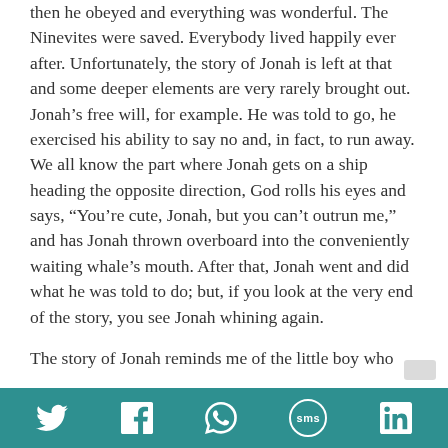then he obeyed and everything was wonderful. The Ninevites were saved. Everybody lived happily ever after. Unfortunately, the story of Jonah is left at that and some deeper elements are very rarely brought out. Jonah's free will, for example. He was told to go, he exercised his ability to say no and, in fact, to run away. We all know the part where Jonah gets on a ship heading the opposite direction, God rolls his eyes and says, “You’re cute, Jonah, but you can’t outrun me,” and has Jonah thrown overboard into the conveniently waiting whale’s mouth. After that, Jonah went and did what he was told to do; but, if you look at the very end of the story, you see Jonah whining again.
The story of Jonah reminds me of the little boy who
[Figure (other): Social sharing bar with icons for Twitter, Facebook, WhatsApp, SMS, and LinkedIn on a teal background]